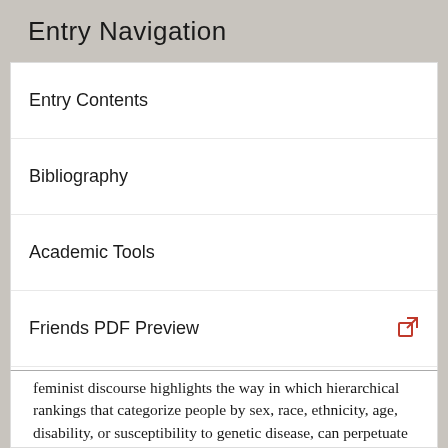Entry Navigation
Entry Contents
Bibliography
Academic Tools
Friends PDF Preview
Author and Citation Info
feminist discourse highlights the way in which hierarchical rankings that categorize people by sex, race, ethnicity, age, disability, or susceptibility to genetic disease, can perpetuate unjust practices in health and social care, research, and public health. Some feminists integrate cross-disciplinary analysis of structural and social frameworks that divide and marginalize people with insights from the women's health movement, others concentrate their analysis on a specific axis of oppressive practice, but all recognize interrelationships among such practices.